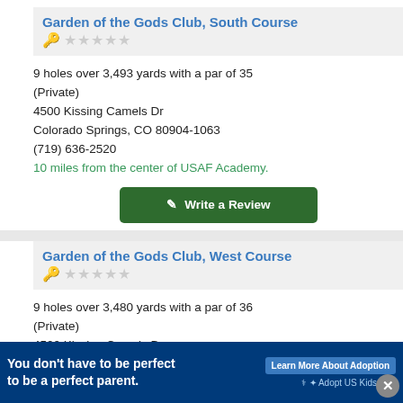Garden of the Gods Club, South Course
9 holes over 3,493 yards with a par of 35
(Private)
4500 Kissing Camels Dr
Colorado Springs, CO 80904-1063
(719) 636-2520
10 miles from the center of USAF Academy.
Write a Review
Garden of the Gods Club, West Course
9 holes over 3,480 yards with a par of 36
(Private)
4500 Kissing Camels Dr
Colorado Springs, CO 80904-1063
(719) 636-2520
You don't have to be perfect to be a perfect parent. Learn More About Adoption. Adopt US Kids.